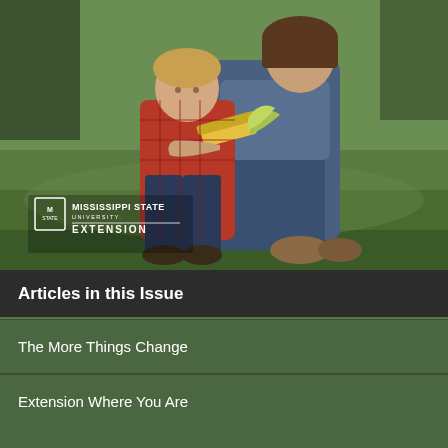[Figure (photo): A woman crouching in a grassy field with a young child in a red plaid shirt, holding an ear of corn. The Mississippi State University Extension logo is overlaid in the lower left of the photo.]
Articles in this Issue
The More Things Change
Extension Where You Are